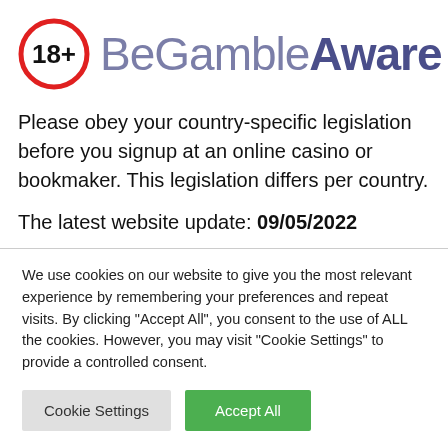[Figure (logo): BeGambleAware logo: 18+ badge in red circle alongside 'BeGambleAware' brand text in purple/dark purple]
Please obey your country-specific legislation before you signup at an online casino or bookmaker. This legislation differs per country.
The latest website update: 09/05/2022
We use cookies on our website to give you the most relevant experience by remembering your preferences and repeat visits. By clicking "Accept All", you consent to the use of ALL the cookies. However, you may visit "Cookie Settings" to provide a controlled consent.